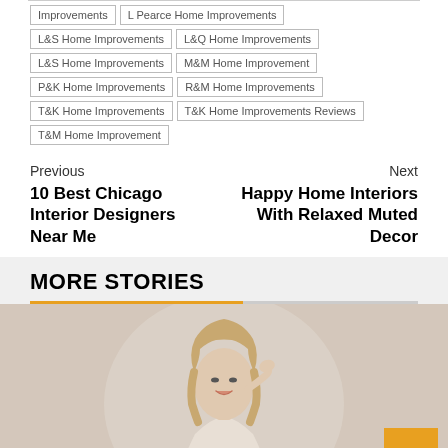Improvements | L Pearce Home Improvements | L&S Home Improvements | L&Q Home Improvements | L&S Home Improvements | M&M Home Improvement | P&K Home Improvements | R&M Home Improvements | T&K Home Improvements | T&K Home Improvements Reviews | T&M Home Improvement
Previous
10 Best Chicago Interior Designers Near Me
Next
Happy Home Interiors With Relaxed Muted Decor
MORE STORIES
[Figure (photo): A smiling blonde woman in a light-colored top, hand near her hair, photographed against a light background]